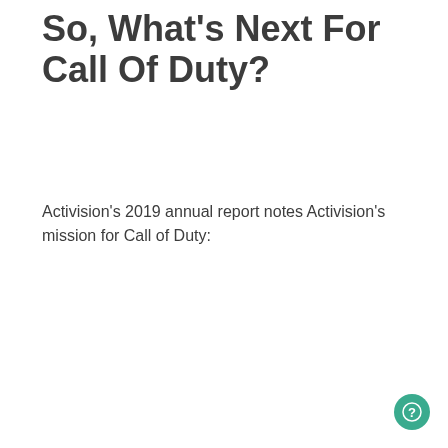So, What's Next For Call Of Duty?
Activision's 2019 annual report notes Activision's mission for Call of Duty: